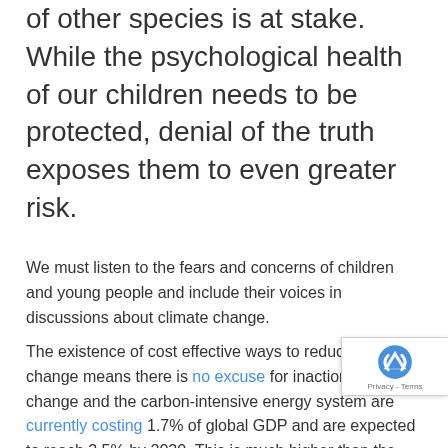of other species is at stake. While the psychological health of our children needs to be protected, denial of the truth exposes them to even greater risk.
We must listen to the fears and concerns of children and young people and include their voices in discussions about climate change.
The existence of cost effective ways to reduce climate change means there is no excuse for inaction. Climate change and the carbon-intensive energy system are currently costing 1.7% of global GDP and are expected to reach 3.5% by 2030. This is much higher than the cost of shifting